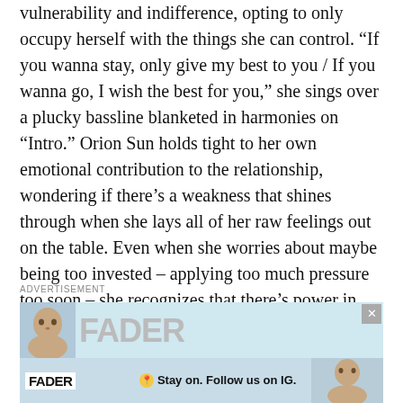vulnerability and indifference, opting to only occupy herself with the things she can control. “If you wanna stay, only give my best to you / If you wanna go, I wish the best for you,” she sings over a plucky bassline blanketed in harmonies on “Intro.” Orion Sun holds tight to her own emotional contribution to the relationship, wondering if there’s a weakness that shines through when she lays all of her raw feelings out on the table. Even when she worries about maybe being too invested – applying too much pressure too soon – she recognizes that there’s power in opening herself up to that hurt, singing: “You crash and you burn ’til you live and you learn and you stay.”
ADVERTISEMENT
[Figure (other): Advertisement banner showing FADER logo twice with a portrait of a woman and text 'Stay on. Follow us on IG.' with close buttons.]